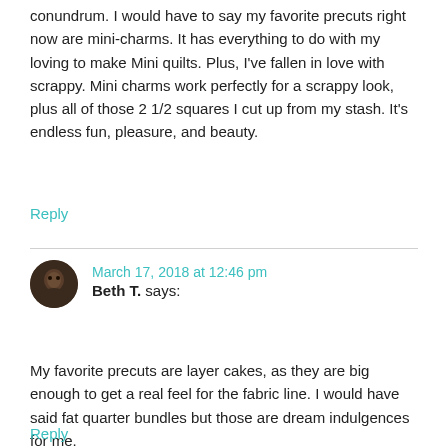conundrum. I would have to say my favorite precuts right now are mini-charms. It has everything to do with my loving to make Mini quilts. Plus, I've fallen in love with scrappy. Mini charms work perfectly for a scrappy look, plus all of those 2 1/2 squares I cut up from my stash. It's endless fun, pleasure, and beauty.
Reply
March 17, 2018 at 12:46 pm
Beth T. says:
My favorite precuts are layer cakes, as they are big enough to get a real feel for the fabric line. I would have said fat quarter bundles but those are dream indulgences for me.
Reply